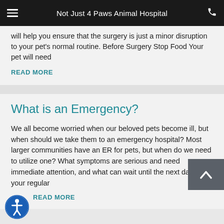Not Just 4 Paws Animal Hospital
will help you ensure that the surgery is just a minor disruption to your pet's normal routine. Before Surgery Stop Food Your pet will need
READ MORE
What is an Emergency?
We all become worried when our beloved pets become ill, but when should we take them to an emergency hospital? Most larger communities have an ER for pets, but when do we need to utilize one? What symptoms are serious and need immediate attention, and what can wait until the next day for your regular
READ MORE